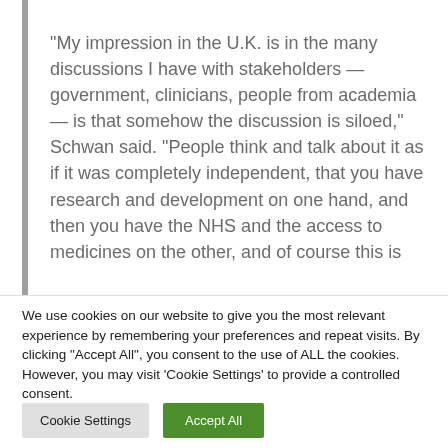“My impression in the U.K. is in the many discussions I have with stakeholders — government, clinicians, people from academia — is that somehow the discussion is siloed,” Schwan said. “People think and talk about it as if it was completely independent, that you have research and development on one hand, and then you have the NHS and the access to medicines on the other, and of course this is
We use cookies on our website to give you the most relevant experience by remembering your preferences and repeat visits. By clicking “Accept All”, you consent to the use of ALL the cookies. However, you may visit 'Cookie Settings' to provide a controlled consent.